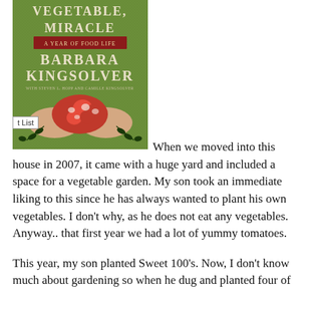[Figure (illustration): Book cover of 'Animal, Vegetable, Miracle: A Year of Food Life' by Barbara Kingsolver. Green textured background with white and cream serif lettering. A subtitle reads 'A Year of Food Life'. Two hands hold red and white marbled beans or tomatoes. Black illustrated plant/herb branches flank the bottom of the image.]
t List
When we moved into this house in 2007, it came with a huge yard and included a space for a vegetable garden. My son took an immediate liking to this since he has always wanted to plant his own vegetables. I don't why, as he does not eat any vegetables. Anyway.. that first year we had a lot of yummy tomatoes.
This year, my son planted Sweet 100's. Now, I don't know much about gardening so when he dug and planted four of